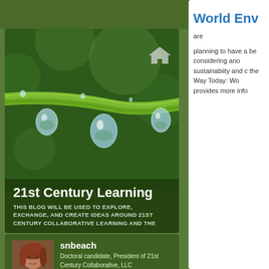[Figure (photo): Close-up photo of green plant stem with water droplets hanging from it on dark green blurred background]
21st Century Learning
THIS BLOG WILL BE USED TO EXPLORE, EXCHANGE, AND CREATE IDEAS AROUND 21ST CENTURY COLLABORATIVE LEARNING AND THE
[Figure (photo): Portrait photo of snbeach, a woman with reddish-brown hair]
snbeach
Doctoral candidate, President of 21st Century Collaborative, LLC (21stcenturycollaborative.com) and Co-founder of Powerful Learning Practice, LLC (plpnetwork.com).
World Env
are

planning to have a be considering and sustainabiity and c the Way Today: Wo provides more info